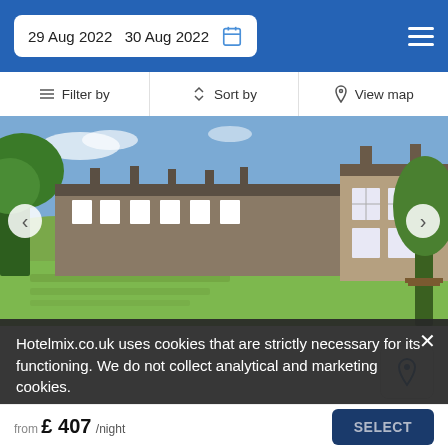29 Aug 2022  30 Aug 2022
Filter by  |  Sort by  |  View map
[Figure (photo): Stone terraced house with mowed lawn and trees, exterior view showing long row of connected stone buildings with white-framed windows under a blue sky]
17 adults · 8 bedrooms · 8 beds
3.3 mi from Commondale
3.3 mi from City Centre
Set 28 km from Whitby Museum, this property features 1...
Hotelmix.co.uk uses cookies that are strictly necessary for its functioning. We do not collect analytical and marketing cookies.
from £ 407/night  SELECT